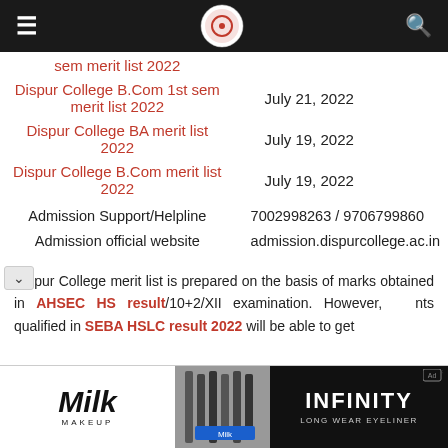Navigation bar with hamburger menu, college logo, and search icon
| Merit List | Date |
| --- | --- |
| sem merit list 2022 |  |
| Dispur College B.Com 1st sem merit list 2022 | July 21, 2022 |
| Dispur College BA merit list 2022 | July 19, 2022 |
| Dispur College B.Com merit list 2022 | July 19, 2022 |
| Admission Support/Helpline | 7002998263 / 9706799860 |
| Admission official website | admission.dispurcollege.ac.in |
Dispur College merit list is prepared on the basis of marks obtained in AHSEC HS result/10+2/XII examination. However, nts qualified in SEBA HSLC result 2022 will be able to get
[Figure (photo): Advertisement banner for Milk Makeup Infinity Long Wear Eyeliner]